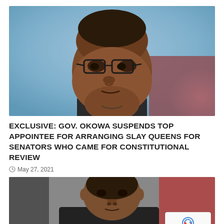[Figure (photo): Close-up photo of a middle-aged Black man wearing black-rimmed glasses, resting his chin on his hand in a thoughtful pose, with a blurred blue and red background.]
EXCLUSIVE: GOV. OKOWA SUSPENDS TOP APPOINTEE FOR ARRANGING SLAY QUEENS FOR SENATORS WHO CAME FOR CONSTITUTIONAL REVIEW
May 27, 2021
[Figure (photo): Partial photo of another man in a dark suit, with a red background visible, partially cut off at the bottom of the page. A reCAPTCHA badge is overlaid in the bottom-right corner.]